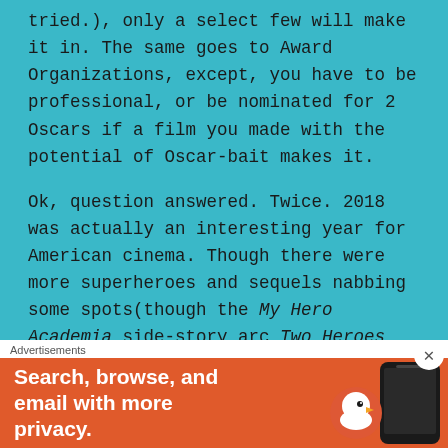tried.), only a select few will make it in. The same goes to Award Organizations, except, you have to be professional, or be nominated for 2 Oscars if a film you made with the potential of Oscar-bait makes it.
Ok, question answered. Twice. 2018 was actually an interesting year for American cinema. Though there were more superheroes and sequels nabbing some spots(though the My Hero Academia side-story arc Two Heroes deserved one for longer than it did; shame on you, Funimation, for not giving it a standard release, even though Sony could cover the costs!), and the #MeToo movement began to thrive within showbiz, many inspirational stories that the few had the courage to share(some of which being
Advertisements
[Figure (infographic): Orange advertisement banner for DuckDuckGo showing text 'Search, browse, and email with more privacy.' with a phone and duck logo image on the right side.]